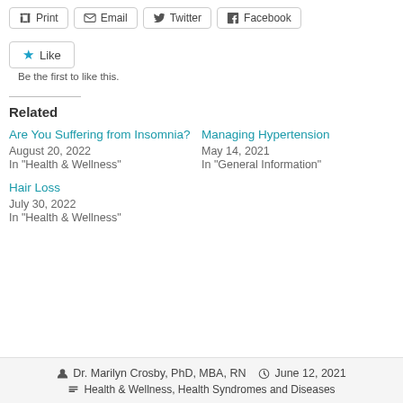Print  Email  Twitter  Facebook
Like
Be the first to like this.
Related
Are You Suffering from Insomnia?
August 20, 2022
In "Health & Wellness"
Managing Hypertension
May 14, 2021
In "General Information"
Hair Loss
July 30, 2022
In "Health & Wellness"
Dr. Marilyn Crosby, PhD, MBA, RN  June 12, 2021  Health & Wellness, Health Syndromes and Diseases